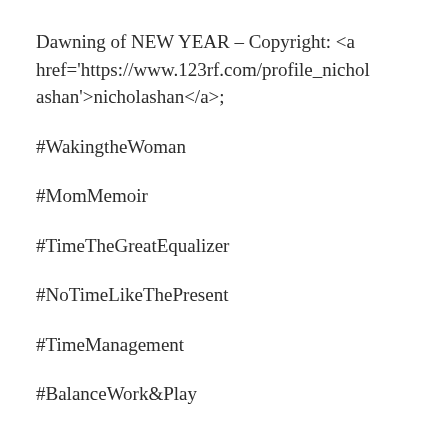Dawning of NEW YEAR – Copyright: <a href='https://www.123rf.com/profile_nicholashan'>nicholashan</a&gt;
#WakingtheWoman
#MomMemoir
#TimeTheGreatEqualizer
#NoTimeLikeThePresent
#TimeManagement
#BalanceWork&Play